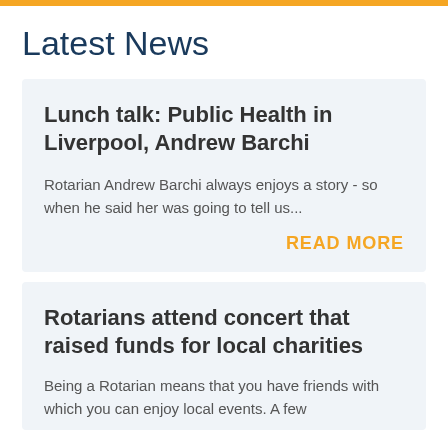Latest News
Lunch talk: Public Health in Liverpool, Andrew Barchi
Rotarian Andrew Barchi always enjoys a story - so when he said her was going to tell us...
READ MORE
Rotarians attend concert that raised funds for local charities
Being a Rotarian means that you have friends with which you can enjoy local events. A few